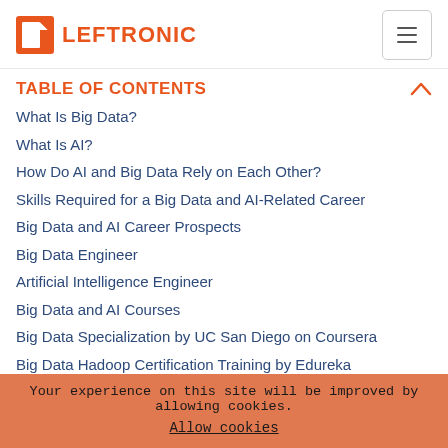LEFTRONIC
TABLE OF CONTENTS
What Is Big Data?
What Is AI?
How Do AI and Big Data Rely on Each Other?
Skills Required for a Big Data and AI-Related Career
Big Data and AI Career Prospects
Big Data Engineer
Artificial Intelligence Engineer
Big Data and AI Courses
Big Data Specialization by UC San Diego on Coursera
Big Data Hadoop Certification Training by Edureka
Beginner's Guide to AI in Unity by Udemy
Artificial Intelligence Graduate Program by Stanford University
What Is the Future of Big Data and AI?
Your experience on this site will be improved by allowing cookies.
Allow cookies